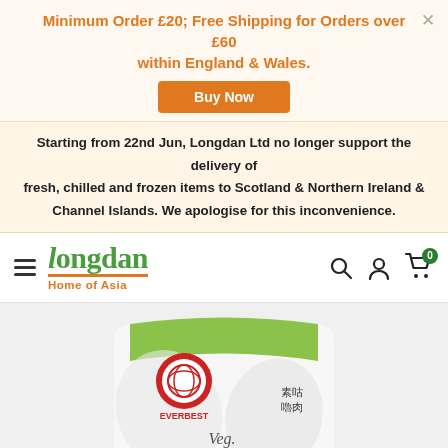Minimum Order £20; Free Shipping for Orders over £60 within England & Wales.
Buy Now
Starting from 22nd Jun, Longdan Ltd no longer support the delivery of fresh, chilled and frozen items to Scotland & Northern Ireland & Channel Islands. We apologise for this inconvenience.
[Figure (logo): Longdan Home of Asia logo with green text and orange underline and subtitle]
[Figure (photo): Everbest Veg. Ku Loh Meat product package - green and white bag with Chinese characters]